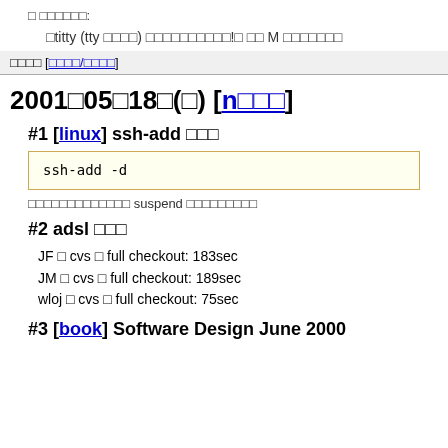□ □□□□□□:
□titty (tty □□□□) □□□□□□□□□□!□ □□ M □□□□□□□
□□□□ [□□□□/□□□□]
2001□05□18□(□) [n□□□]
#1 [linux] ssh-add □□□
ssh-add -d
□□□□□□□□□□□□□ suspend □□□□□□□□□
#2 adsl □□□
JF □ cvs □ full checkout: 183sec
JM □ cvs □ full checkout: 189sec
wloj □ cvs □ full checkout: 75sec
#3 [book] Software Design June 2000